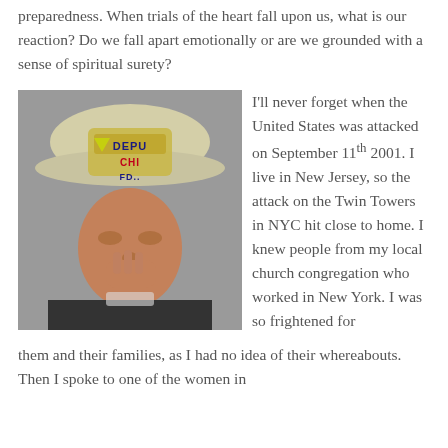preparedness. When trials of the heart fall upon us, what is our reaction? Do we fall apart emotionally or are we grounded with a sense of spiritual surety?
[Figure (photo): A firefighter wearing a white Deputy Chief FDNY helmet, head bowed, hand raised to his face in a moment of grief or reflection.]
I'll never forget when the United States was attacked on September 11th 2001. I live in New Jersey, so the attack on the Twin Towers in NYC hit close to home. I knew people from my local church congregation who worked in New York. I was so frightened for them and their families, as I had no idea of their whereabouts. Then I spoke to one of the women in